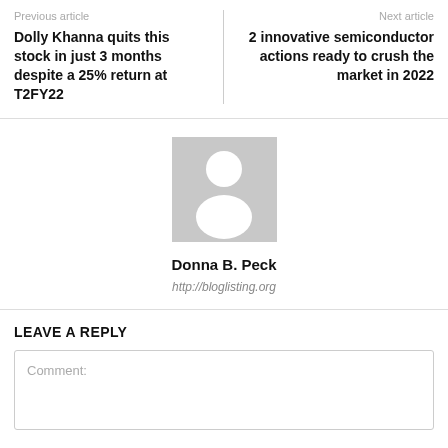Previous article
Dolly Khanna quits this stock in just 3 months despite a 25% return at T2FY22
Next article
2 innovative semiconductor actions ready to crush the market in 2022
[Figure (illustration): Generic user avatar placeholder image — grey background with white silhouette of a person]
Donna B. Peck
http://bloglisting.org
LEAVE A REPLY
Comment: